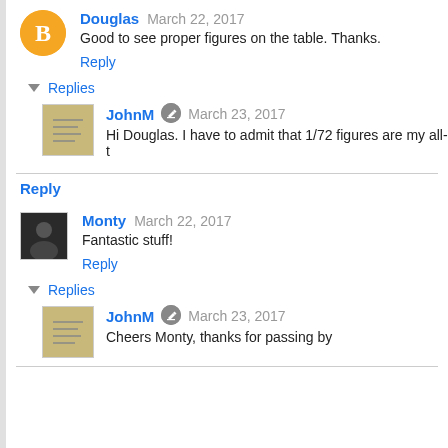Douglas  March 22, 2017
Good to see proper figures on the table. Thanks.
Reply
Replies
JohnM  March 23, 2017
Hi Douglas. I have to admit that 1/72 figures are my all-t
Reply
Monty  March 22, 2017
Fantastic stuff!
Reply
Replies
JohnM  March 23, 2017
Cheers Monty, thanks for passing by